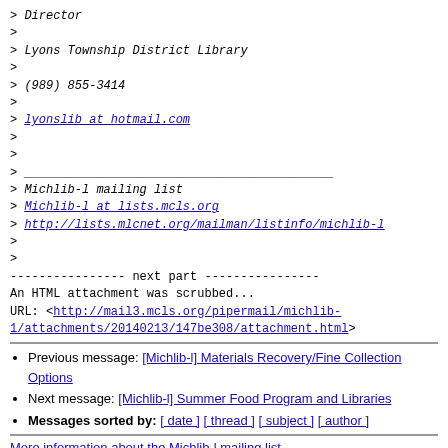> Director
>
> Lyons Township District Library
>
> (989) 855-3414
>
> lyonslib at hotmail.com
>
>
> ___________________________________________
> Michlib-l mailing list
> Michlib-l at lists.mcls.org
> http://lists.mlcnet.org/mailman/listinfo/michlib-l
>
>
---------------- next part ----------------
An HTML attachment was scrubbed...
URL: <http://mail3.mcls.org/pipermail/michlib-1/attachments/20140213/147be308/attachment.html>
Previous message: [Michlib-l] Materials Recovery/Fine Collection Options
Next message: [Michlib-l] Summer Food Program and Libraries
Messages sorted by: [ date ] [ thread ] [ subject ] [ author ]
More information about the Michlib-l mailing list